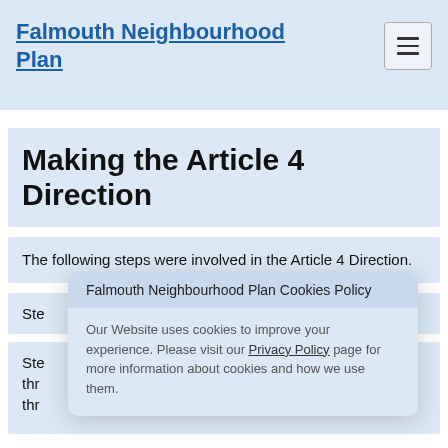Falmouth Neighbourhood Plan
Making the Article 4 Direction
The following steps were involved in the Article 4 Direction.
Ste[p 1 - partial, obscured by cookie popup]
Ste[p ... through ... ies thr... the area affected to the A4D for a period f... - partial, obscured by cookie popup]
Falmouth Neighbourhood Plan Cookies Policy

Our Website uses cookies to improve your experience. Please visit our Privacy Policy page for more information about cookies and how we use them.